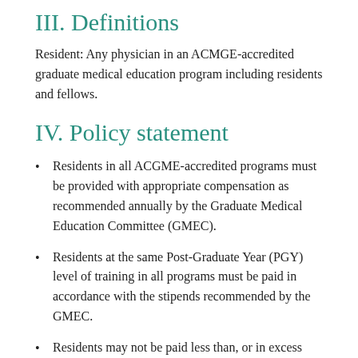III. Definitions
Resident: Any physician in an ACMGE-accredited graduate medical education program including residents and fellows.
IV. Policy statement
Residents in all ACGME-accredited programs must be provided with appropriate compensation as recommended annually by the Graduate Medical Education Committee (GMEC).
Residents at the same Post-Graduate Year (PGY) level of training in all programs must be paid in accordance with the stipends recommended by the GMEC.
Residents may not be paid less than, or in excess